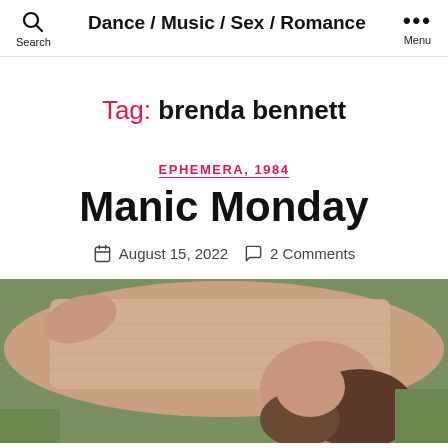Search | Dance / Music / Sex / Romance | Menu
Tag: brenda bennett
EPHEMERA, 1984
Manic Monday
August 15, 2022   2 Comments
[Figure (photo): A person lying back with hand behind head, skin tones visible, partial view against outdoor background]